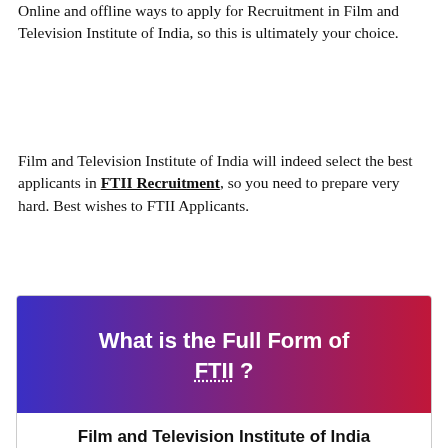Online and offline ways to apply for Recruitment in Film and Television Institute of India, so this is ultimately your choice.
Film and Television Institute of India will indeed select the best applicants in FTII Recruitment, so you need to prepare very hard. Best wishes to FTII Applicants.
[Figure (infographic): A banner card with a purple-to-red gradient background displaying 'What is the Full Form of FTII ?' in bold white text with dotted underline under FTII, and a white section below with bold black text 'Film and Television Institute of India'.]